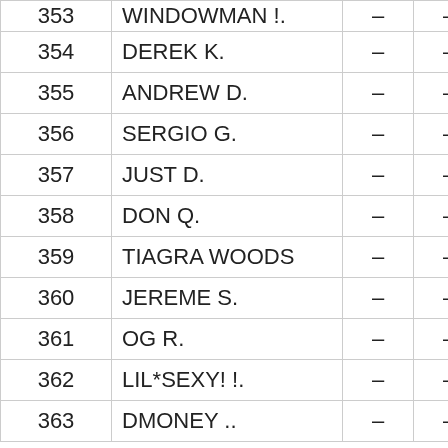| # | Name |  |  | Score |
| --- | --- | --- | --- | --- |
| 353 | WINDOWMAN !. | – | – | 82 |
| 354 | DEREK K. | – | – | 81 |
| 355 | ANDREW D. | – | – | 81 |
| 356 | SERGIO G. | – | – | 80 |
| 357 | JUST D. | – | – | 80 |
| 358 | DON Q. | – | – | 80 |
| 359 | TIAGRA WOODS | – | – | 80 |
| 360 | JEREME S. | – | – | 80 |
| 361 | OG R. | – | – | 80 |
| 362 | LIL*SEXY! !. | – | – | 79 |
| 363 | DMONEY .. | – | – | 78 |